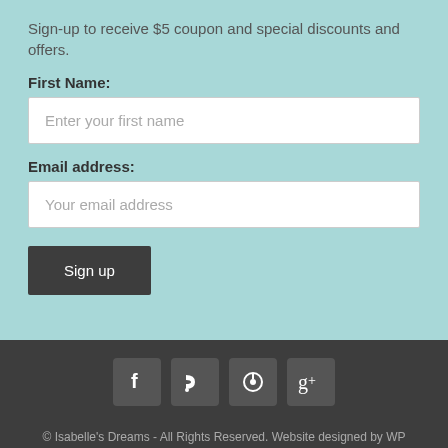Sign-up to receive $5 coupon and special discounts and offers.
First Name:
Enter your first name
Email address:
Your email address
Sign up
[Figure (infographic): Social media icons: Facebook, RSS, Pinterest, Google+]
© Isabelle's Dreams - All Rights Reserved. Website designed by WP